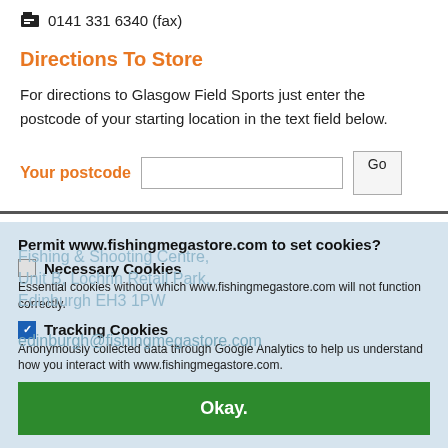0141 331 6340 (fax)
Directions To Store
For directions to Glasgow Field Sports just enter the postcode of your starting location in the text field below.
Your postcode  [input box]  Go
Permit www.fishingmegastore.com to set cookies?
Necessary Cookies
Essential cookies without which www.fishingmegastore.com will not function correctly.
Tracking Cookies
Anonymously collected data through Google Analytics to help us understand how you interact with www.fishingmegastore.com.
Okay.